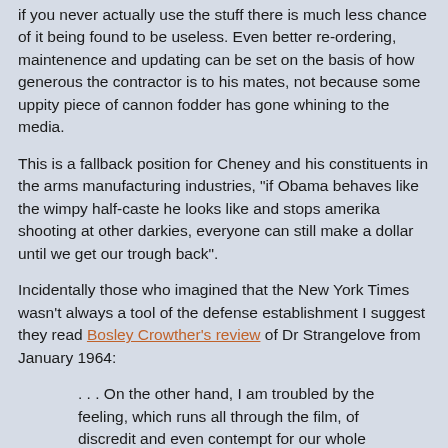if you never actually use the stuff there is much less chance of it being found to be useless. Even better re-ordering, maintenence and updating can be set on the basis of how generous the contractor is to his mates, not because some uppity piece of cannon fodder has gone whining to the media.
This is a fallback position for Cheney and his constituents in the arms manufacturing industries, "if Obama behaves like the wimpy half-caste he looks like and stops amerika shooting at other darkies, everyone can still make a dollar until we get our trough back".
Incidentally those who imagined that the New York Times wasn't always a tool of the defense establishment I suggest they read Bosley Crowther's review of Dr Strangelove from January 1964:
. . . On the other hand, I am troubled by the feeling, which runs all through the film, of discredit and even contempt for our whole defense establishment, up to and even including the hypothetical Commander in Chief.
It is all right to show the general who starts this wild foray as a Communist-hating madman, convinced that a "Red conspiracy" is fluoridating our water in order to pollute our precious body fluids. That is pointed satire, and Sterling Hayden plays the role with just a right blend of wackiness and meanness to